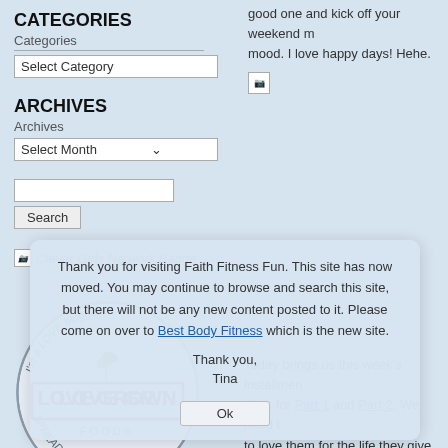good one and kick off your weekend mood. I love happy days! Hehe.
CATEGORIES
Categories
Select Category
ARCHIVES
Archives
Select Month
Search
Clever Girls Network Badge
[Figure (illustration): Modal dialog with site migration notice for Faith Fitness Fun blog, with OK button]
Thank you for visiting Faith Fitness Fun. This site has now moved. You may continue to browse and search this site, but there will not be any new content posted to it. Please come on over to Best Body Fitness which is the new site. Thank you, Tina
[Figure (logo): Love Grown Foods circular badge logo with text 'I'm a LOVE blogger! LOVE GROWN FOODS SPREAD THE LOVE']
Today brings us this week's installment. Click for Part 1 and Part 2. We need to love them for the life they give. No p...